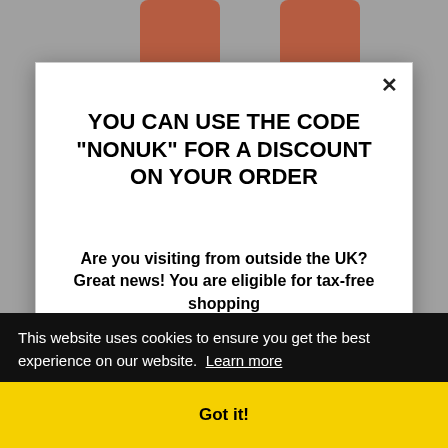[Figure (screenshot): Background showing top of red sneakers on grey background with a white modal dialog overlay]
YOU CAN USE THE CODE "NONUK" FOR A DISCOUNT ON YOUR ORDER
Are you visiting from outside the UK? Great news! You are eligible for tax-free shopping
For more information regarding pricing and
This website uses cookies to ensure you get the best experience on our website. Learn more
Got it!